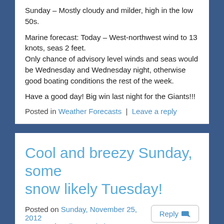Sunday – Mostly cloudy and milder, high in the low 50s.
Marine forecast: Today – West-northwest wind to 13 knots, seas 2 feet.
Only chance of advisory level winds and seas would be Wednesday and Wednesday night, otherwise good boating conditions the rest of the week.
Have a good day! Big win last night for the Giants!!!
Posted in Weather Forecasts | Leave a reply
Cool and breezy Sunday, some snow likely Tuesday!
Posted on Sunday, November 25, 2012 7:27 AM by Allan Kazimir
Below normal temperatures will continue today and it will be breezy but not as windy as yesterday, plenty of cloudiness especially in the afternoon.. More sun on